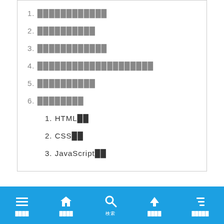1. ████████████
2. ██████████
3. ████████████
4. ████████████████████
5. ██████████
6. ████████
1. HTML██
2. CSS██
3. JavaScript██
███████████████
████ ████ 検索 ████ █████